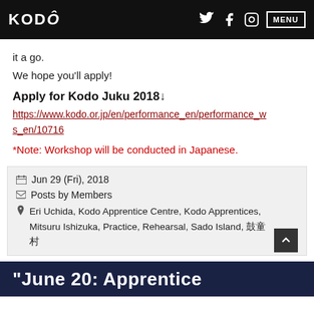KODO | MENU
it a go.
We hope you'll apply!
Apply for Kodo Juku 2018↓
https://www.kodo.or.jp/en/performance_en/performance_ws_en/10716
*Note: Workshop will be conducted in Japanese.
Jun 29 (Fri), 2018
Posts by Members
Eri Uchida, Kodo Apprentice Centre, Kodo Apprentices, Mitsuru Ishizuka, Practice, Rehearsal, Sado Island, 鼓童村
"June 20: Apprentice